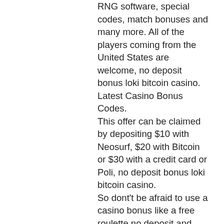RNG software, special codes, match bonuses and many more. All of the players coming from the United States are welcome, no deposit bonus loki bitcoin casino. Latest Casino Bonus Codes. This offer can be claimed by depositing $10 with Neosurf, $20 with Bitcoin or $30 with a credit card or Poli, no deposit bonus loki bitcoin casino. So dont't be afraid to use a casino bonus like a free roulette no deposit and have fun. Wagering Your No Deposit Bonus. When it comes to no deposit online casinos, every player should understand that wagering requirements are mostly tied to this type of bonus program. When you are looking for the best spot to gamble and face online casinos that offer free cash bonuses or no deposit bonus codes, you should be ready to follow specific wagering rules to enjoy the most entertaining casino games and get fantastic gambling experience. There are no